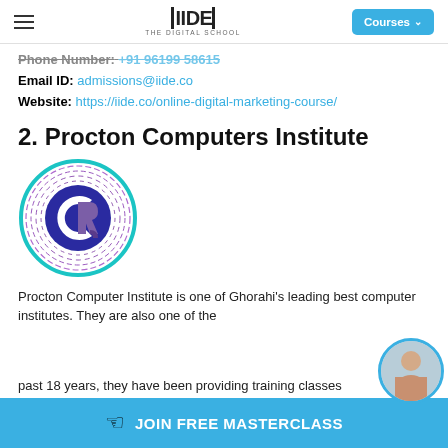IIDE – THE DIGITAL SCHOOL | Courses
Phone Number: +91 96199 58615
Email ID: admissions@iide.co
Website: https://iide.co/online-digital-marketing-course/
2. Procton Computers Institute
[Figure (logo): Procton Computers Institute circular logo with teal outer ring and purple 'CP R' monogram on dark blue background]
Procton Computer Institute is one of Ghorahi's leading best computer institutes. They are also one of the past 18 years, they have been providing training classes